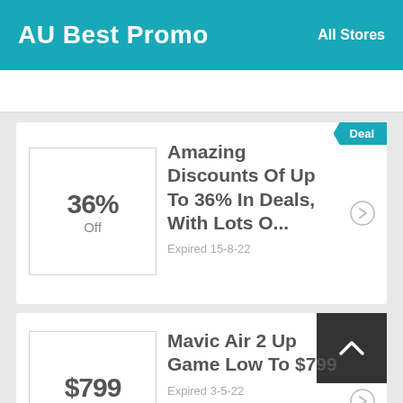AU Best Promo   All Stores
36% Off — Amazing Discounts Of Up To 36% In Deals, With Lots O... Expired 15-8-22
$799 Off — Mavic Air 2 Up Game Low To $799 Expired 3-5-22